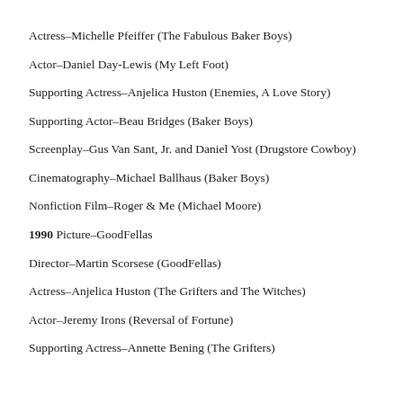Actress–Michelle Pfeiffer (The Fabulous Baker Boys)
Actor–Daniel Day-Lewis (My Left Foot)
Supporting Actress–Anjelica Huston (Enemies, A Love Story)
Supporting Actor–Beau Bridges (Baker Boys)
Screenplay–Gus Van Sant, Jr. and Daniel Yost (Drugstore Cowboy)
Cinematography–Michael Ballhaus (Baker Boys)
Nonfiction Film–Roger & Me (Michael Moore)
1990 Picture–GoodFellas
Director–Martin Scorsese (GoodFellas)
Actress–Anjelica Huston (The Grifters and The Witches)
Actor–Jeremy Irons (Reversal of Fortune)
Supporting Actress–Annette Bening (The Grifters)